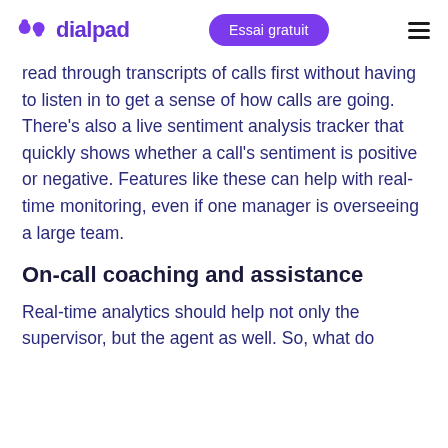dialpad | Essai gratuit
read through transcripts of calls first without having to listen in to get a sense of how calls are going. There’s also a live sentiment analysis tracker that quickly shows whether a call’s sentiment is positive or negative. Features like these can help with real-time monitoring, even if one manager is overseeing a large team.
On-call coaching and assistance
Real-time analytics should help not only the supervisor, but the agent as well. So, what do